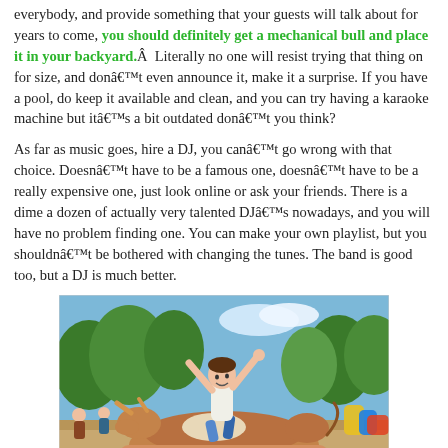everybody, and provide something that your guests will talk about for years to come, you should definitely get a mechanical bull and place it in your backyard.Â  Literally no one will resist trying that thing on for size, and don't even announce it, make it a surprise. If you have a pool, do keep it available and clean, and you can try having a karaoke machine but it's a bit outdated don't you think?
As far as music goes, hire a DJ, you can't go wrong with that choice. Doesn't have to be a famous one, doesn't have to be a really expensive one, just look online or ask your friends. There is a dime a dozen of actually very talented DJ's nowadays, and you will have no problem finding one. You can make your own playlist, but you shouldn't be bothered with changing the tunes. The band is good too, but a DJ is much better.
[Figure (photo): A girl riding a mechanical bull at an outdoor event, arms raised, with trees and blue sky in the background and colorful inflatable structures visible.]